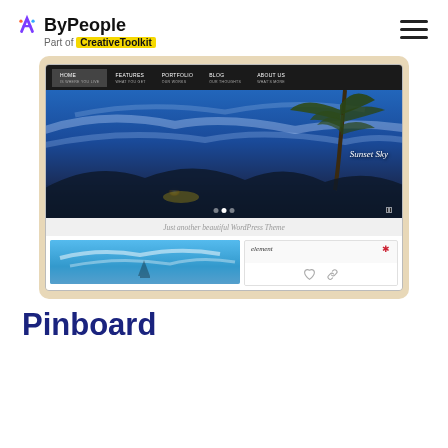ByPeople — Part of CreativeToolkit
[Figure (screenshot): Screenshot of a WordPress theme (Pinboard) showing a navigation bar with HOME, FEATURES, PORTFOLIO, BLOG, ABOUT US links, a full-width hero image of a sunset sky with palm trees and the label 'Sunset Sky', a tagline 'Just another beautiful WordPress Theme', and bottom thumbnail images.]
Pinboard